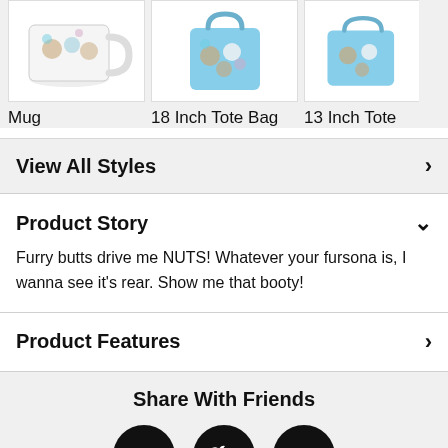[Figure (photo): Product images showing a Mug, 18 Inch Tote Bag, and partial 13 Inch Tote Bag with animal/fursona illustrations on light backgrounds.]
Mug
18 Inch Tote Bag
13 Inch Tote
View All Styles
Product Story
Furry butts drive me NUTS! Whatever your fursona is, I wanna see it's rear. Show me that booty!
Product Features
Share With Friends
[Figure (illustration): Three social media icon circles: Facebook (f), Twitter (bird), Pinterest (P)]